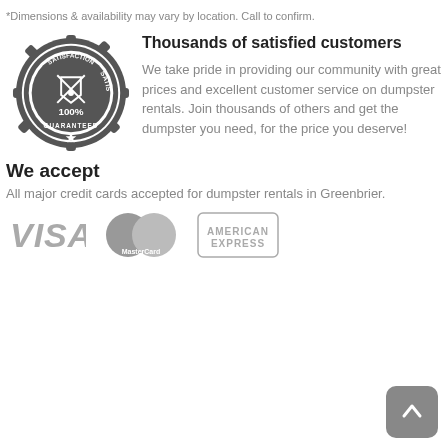*Dimensions & availability may vary by location. Call to confirm.
[Figure (illustration): Satisfaction Guaranteed 100% badge/seal in dark circular stamp style]
Thousands of satisfied customers
We take pride in providing our community with great prices and excellent customer service on dumpster rentals. Join thousands of others and get the dumpster you need, for the price you deserve!
We accept
All major credit cards accepted for dumpster rentals in Greenbrier.
[Figure (logo): VISA, MasterCard, and American Express payment logos in grayscale]